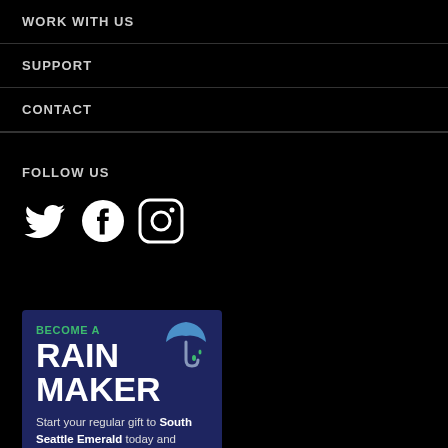WORK WITH US
SUPPORT
CONTACT
FOLLOW US
[Figure (other): Social media icons: Twitter bird, Facebook f circle, Instagram camera circle]
[Figure (infographic): Rainmaker donation ad for South Seattle Emerald. Dark blue/navy background with umbrella icon. Text: BECOME A RAIN MAKER. Body: Start your regular gift to South Seattle Emerald today and...]